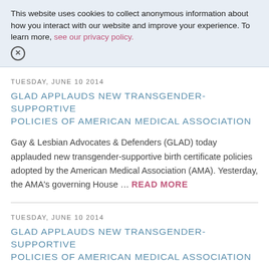This website uses cookies to collect anonymous information about how you interact with our website and improve your experience. To learn more, see our privacy policy.
TUESDAY, JUNE 10 2014
GLAD APPLAUDS NEW TRANSGENDER-SUPPORTIVE POLICIES OF AMERICAN MEDICAL ASSOCIATION
Gay & Lesbian Advocates & Defenders (GLAD) today applauded new transgender-supportive birth certificate policies adopted by the American Medical Association (AMA). Yesterday, the AMA's governing House … READ MORE
TUESDAY, JUNE 10 2014
GLAD APPLAUDS NEW TRANSGENDER-SUPPORTIVE POLICIES OF AMERICAN MEDICAL ASSOCIATION
Gay & Lesbian Advocates & Defenders (GLAD) today applauded